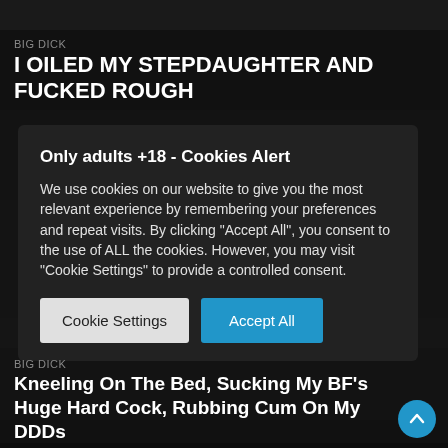[Figure (photo): Dark top image strip from a video thumbnail]
BIG DICK
I OILED MY STEPDAUGHTER AND FUCKED ROUGH
Only adults +18 - Cookies Alert
We use cookies on our website to give you the most relevant experience by remembering your preferences and repeat visits. By clicking "Accept All", you consent to the use of ALL the cookies. However, you may visit "Cookie Settings" to provide a controlled consent.
Cookie Settings
Accept All
BIG DICK
Kneeling On The Bed, Sucking My BF's Huge Hard Cock, Rubbing Cum On My DDDs